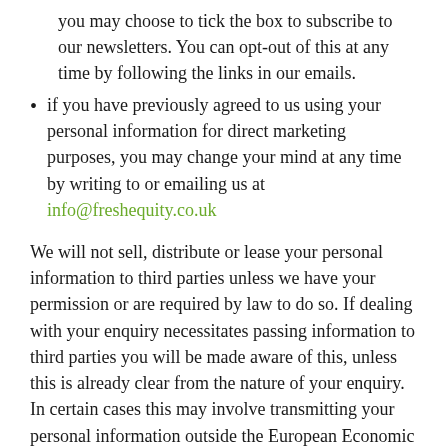you may choose to tick the box to subscribe to our newsletters. You can opt-out of this at any time by following the links in our emails.
if you have previously agreed to us using your personal information for direct marketing purposes, you may change your mind at any time by writing to or emailing us at info@freshequity.co.uk
We will not sell, distribute or lease your personal information to third parties unless we have your permission or are required by law to do so. If dealing with your enquiry necessitates passing information to third parties you will be made aware of this, unless this is already clear from the nature of your enquiry. In certain cases this may involve transmitting your personal information outside the European Economic Area and in such cases we will ensure that the information is transferred in accordance with this Privacy Policy. By using our website you agree to us using your personal information in this way.